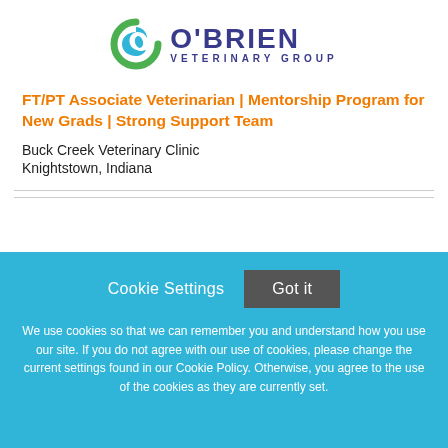[Figure (logo): O'Brien Veterinary Group logo with circular icon and text]
FT/PT Associate Veterinarian | Mentorship Program for New Grads | Strong Support Team
Buck Creek Veterinary Clinic
Knightstown, Indiana
Cookie Settings  Got it
We use cookies so that we can remember you and understand how you use our site. If you do not agree with our use of cookies, please change the current settings found in our Cookie Policy. Otherwise, you agree to the use of the cookies as they are currently set.